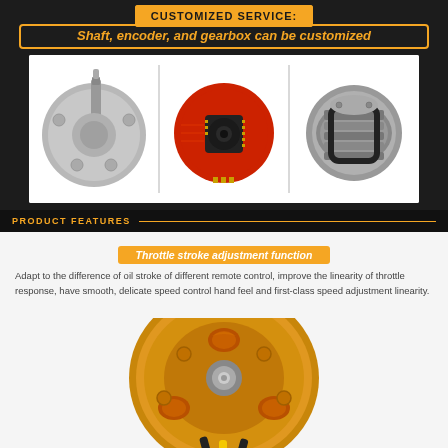CUSTOMIZED SERVICE: Shaft, encoder, and gearbox can be customized
[Figure (photo): Three product photos: a metal shaft/flange component, an encoder circuit board (red PCB with black sensor), and a gearbox/motor assembly cross-section]
PRODUCT FEATURES
Throttle stroke adjustment function
Adapt to the difference of oil stroke of different remote control, improve the linearity of throttle response, have smooth, delicate speed control hand feel and first-class speed adjustment linearity.
[Figure (photo): Close-up photo of a gold-colored brushless motor with copper windings visible, with black and yellow cables]